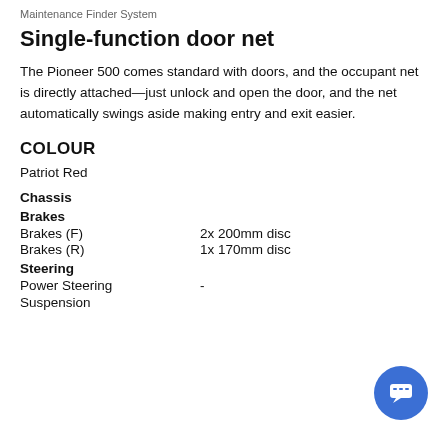Maintenance Finder System
Single-function door net
The Pioneer 500 comes standard with doors, and the occupant net is directly attached—just unlock and open the door, and the net automatically swings aside making entry and exit easier.
COLOUR
Patriot Red
Chassis
Brakes
Brakes (F)	2x 200mm disc
Brakes (R)	1x 170mm disc
Steering
Power Steering	-
Suspension